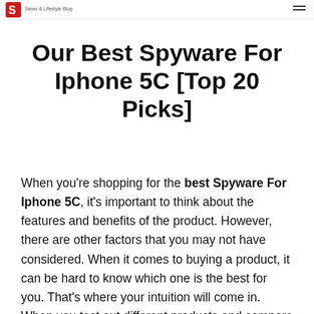News & Lifestyle Blog
Our Best Spyware For Iphone 5C [Top 20 Picks]
When you're shopping for the best Spyware For Iphone 5C, it's important to think about the features and benefits of the product. However, there are other factors that you may not have considered. When it comes to buying a product, it can be hard to know which one is the best for you. That's where your intuition will come in. When you test out different products and compare them side by side,